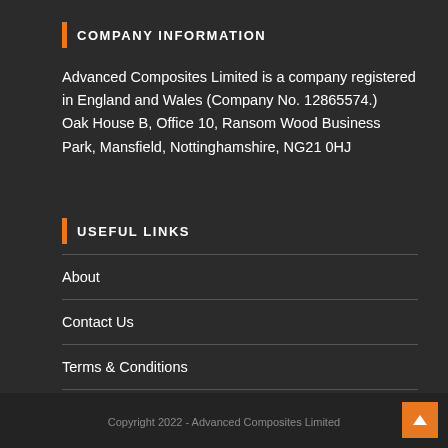COMPANY INFORMATION
Advanced Composites Limited is a company registered in England and Wales (Company No. 12865574.)
Oak House B, Office 10, Ransom Wood Business Park, Mansfield, Nottinghamshire, NG21 0HJ
USEFUL LINKS
About
Contact Us
Terms & Conditions
Copyright 2022 - Advanced Composites Limited